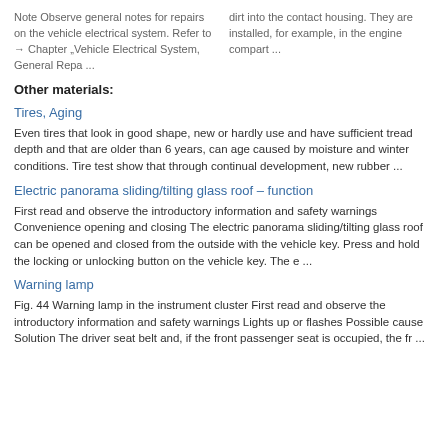Note Observe general notes for repairs on the vehicle electrical system. Refer to → Chapter „Vehicle Electrical System, General Repa ...
dirt into the contact housing. They are installed, for example, in the engine compart ...
Other materials:
Tires, Aging
Even tires that look in good shape, new or hardly use and have sufficient tread depth and that are older than 6 years, can age caused by moisture and winter conditions. Tire test show that through continual development, new rubber ...
Electric panorama sliding/tilting glass roof – function
First read and observe the introductory information and safety warnings Convenience opening and closing The electric panorama sliding/tilting glass roof can be opened and closed from the outside with the vehicle key. Press and hold the locking or unlocking button on the vehicle key. The e ...
Warning lamp
Fig. 44 Warning lamp in the instrument cluster First read and observe the introductory information and safety warnings Lights up or flashes Possible cause Solution The driver seat belt and, if the front passenger seat is occupied, the fr ...